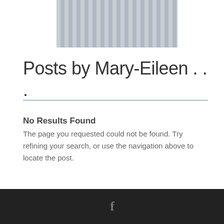[Figure (photo): Partial photo of striped fabric or bedding, showing blue and white vertical stripes, cropped at top]
Posts by Mary-Eileen . . .
No Results Found
The page you requested could not be found. Try refining your search, or use the navigation above to locate the post.
[Figure (logo): Facebook logo icon (letter f) in gray on dark background footer]